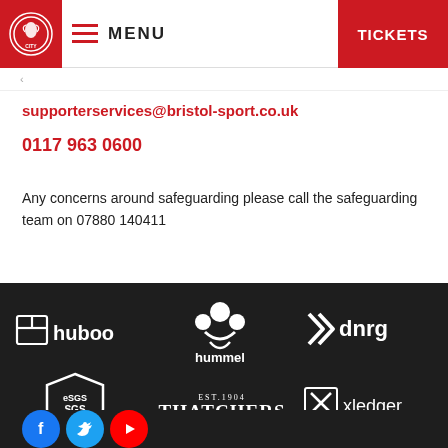MENU | TICKETS
supporterservices@bristol-sport.co.uk
0117 963 0600
Any concerns around safeguarding please call the safeguarding team on 07880 140411
[Figure (logo): Sponsor logos: huboo, hummel, dnrg, SGS Sport, Thatchers The Family Cider Makers, xledger]
[Figure (logo): Social media circle icons: Facebook, Twitter, YouTube]